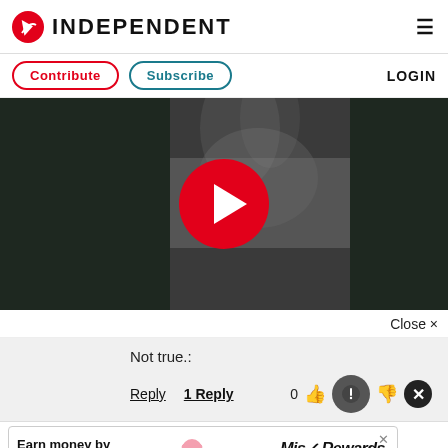INDEPENDENT
Contribute   Subscribe   LOGIN
[Figure (screenshot): Video player with dark background and a large red circular play button in the center, showing a blurry/smoky scene]
Close ×
Not true.:
Reply   1 Reply   0
[Figure (infographic): Advertisement banner: 'Earn money by sharing your opinions' with a cartoon pig, Mis Rewards branding, and a SIGN UP button]